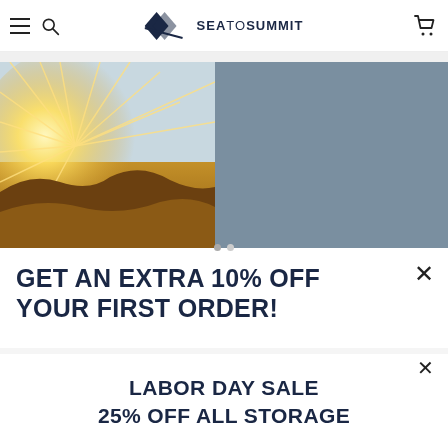Sea to Summit — navigation header with hamburger menu, search, logo, and cart icon
[Figure (photo): Left panel: outdoor scene with bright sun rays bursting over rocky terrain in warm golden tones. Right panel: muted blue-gray solid color panel.]
GET AN EXTRA 10% OFF YOUR FIRST ORDER!
LABOR DAY SALE
25% OFF ALL STORAGE